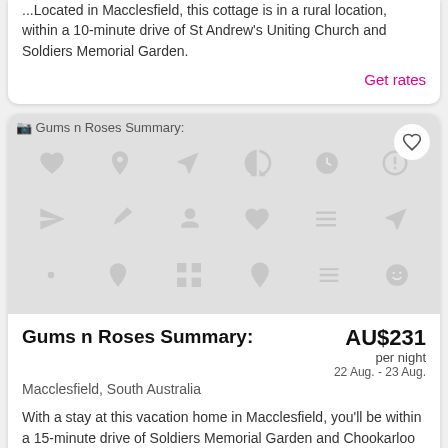Located in Macclesfield, this cottage is in a rural location, within a 10-minute drive of St Andrew's Uniting Church and Soldiers Memorial Garden.
Get rates
[Figure (photo): Placeholder image for Gums n Roses Summary listing with gray background and travel icons pattern]
Gums n Roses Summary:
AU$231 per night 22 Aug. - 23 Aug.
Macclesfield, South Australia
With a stay at this vacation home in Macclesfield, you'll be within a 15-minute drive of Soldiers Memorial Garden and Chookarloo Walk Trailhead.